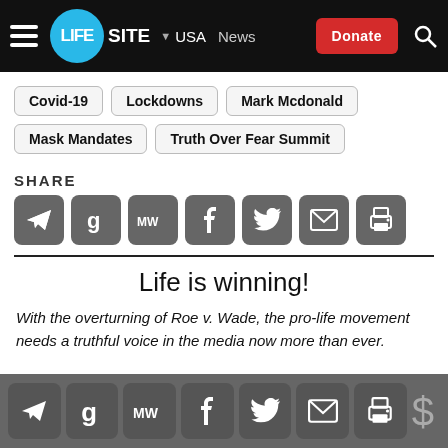LifeSite — USA — News — Donate
Covid-19
Lockdowns
Mark Mcdonald
Mask Mandates
Truth Over Fear Summit
SHARE
[Figure (infographic): Row of share icons: Telegram, Gettr, MeWe, Facebook, Twitter, Email, Print]
Life is winning!
With the overturning of Roe v. Wade, the pro-life movement needs a truthful voice in the media now more than ever.
Bottom social share bar: Telegram, Gettr, MeWe, Facebook, Twitter, Email, Print, Donate ($)